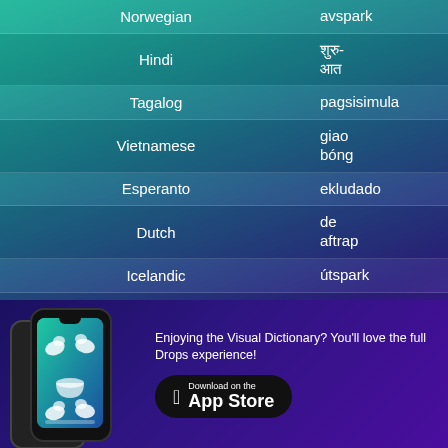Norwegian — avspark
Hindi — शुरु-आत
Tagalog — pagsisimula
Vietnamese — giao bóng
Esperanto — ekludado
Dutch — de aftrap
Icelandic — útspark
Indonesian — kick-off
Enjoying the Visual Dictionary? You'll love the full Drops experience!
[Figure (screenshot): Phone showing Drops app interface with visual vocabulary items]
Download on the App Store